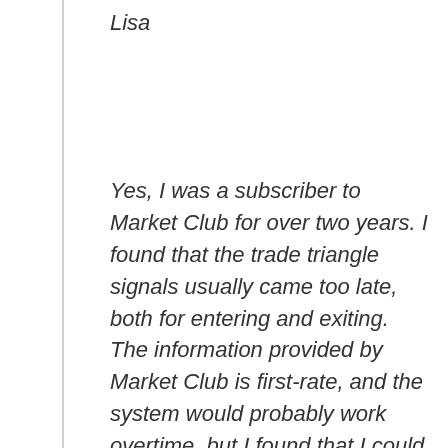Lisa
Yes, I was a subscriber to Market Club for over two years. I found that the trade triangle signals usually came too late, both for entering and exiting. The information provided by Market Club is first-rate, and the system would probably work overtime, but I found that I could do just as well using standard indicators such as Stochastics and the MACD. The trial is